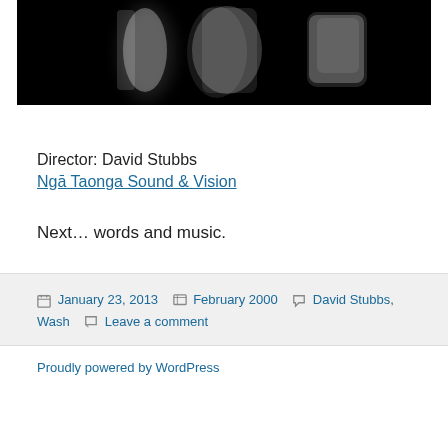[Figure (photo): Black and white abstract image showing blurred white shapes against a dark/black background, resembling stylized numbers or letters]
Director: David Stubbs
Ngā Taonga Sound & Vision
Next… words and music.
Posted on January 23, 2013  Categories February 2000  Tags David Stubbs, Wash  Leave a comment
Proudly powered by WordPress